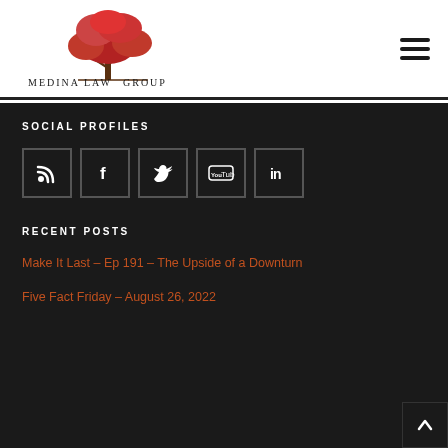[Figure (logo): Medina Law Group logo with a red tree and text 'Medina Law Group' in serif uppercase letters]
SOCIAL PROFILES
[Figure (infographic): Five social media icon buttons: RSS, Facebook, Twitter, YouTube, LinkedIn — white icons on dark square bordered boxes]
RECENT POSTS
Make It Last – Ep 191 – The Upside of a Downturn
Five Fact Friday – August 26, 2022